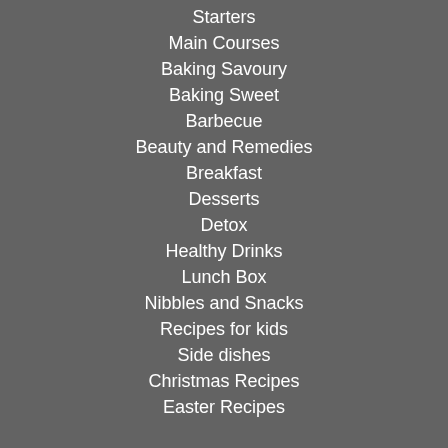Starters
Main Courses
Baking Savoury
Baking Sweet
Barbecue
Beauty and Remedies
Breakfast
Desserts
Detox
Healthy Drinks
Lunch Box
Nibbles and Snacks
Recipes for kids
Side dishes
Christmas Recipes
Easter Recipes